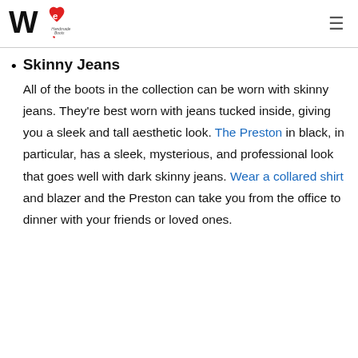WE Handmade Boots [logo]
Skinny Jeans — All of the boots in the collection can be worn with skinny jeans. They're best worn with jeans tucked inside, giving you a sleek and tall aesthetic look. The Preston in black, in particular, has a sleek, mysterious, and professional look that goes well with dark skinny jeans. Wear a collared shirt and blazer and the Preston can take you from the office to dinner with your friends or loved ones.